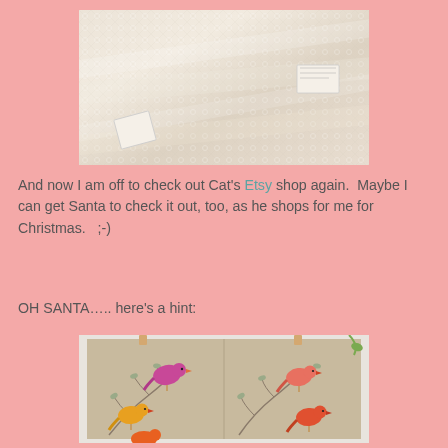[Figure (photo): Photo of white lace fabric pieces laid flat, with small paper tags visible]
And now I am off to check out Cat's Etsy shop again.  Maybe I can get Santa to check it out, too, as he shops for me for Christmas.   ;-)
OH SANTA….. here's a hint:
[Figure (photo): Photo of a quilt or fabric wall hanging with colorful bird appliques (pink, orange, red birds) on tree branches, hanging from clothespins on a white frame]